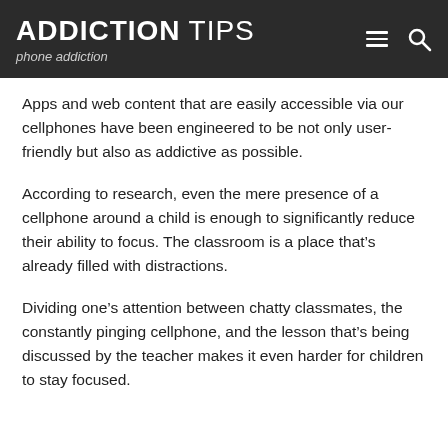ADDICTION TIPS — phone addiction
Apps and web content that are easily accessible via our cellphones have been engineered to be not only user-friendly but also as addictive as possible.
According to research, even the mere presence of a cellphone around a child is enough to significantly reduce their ability to focus. The classroom is a place that's already filled with distractions.
Dividing one's attention between chatty classmates, the constantly pinging cellphone, and the lesson that's being discussed by the teacher makes it even harder for children to stay focused.